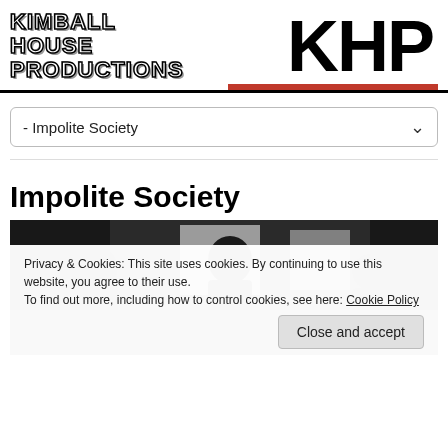KIMBALL HOUSE PRODUCTIONS KHP
- Impolite Society
Impolite Society
[Figure (photo): Black and white photo of people indoors near windows]
Privacy & Cookies: This site uses cookies. By continuing to use this website, you agree to their use.
To find out more, including how to control cookies, see here: Cookie Policy
Close and accept